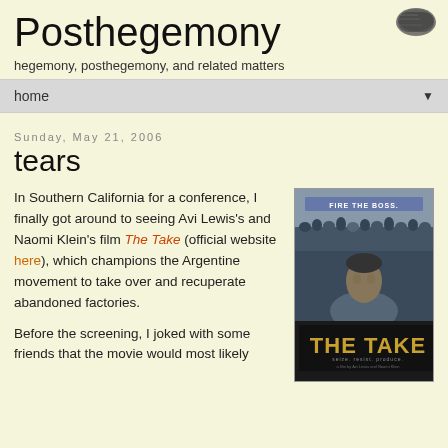Posthegemony
hegemony, posthegemony, and related matters
home
Sunday, May 21, 2006
tears
In Southern California for a conference, I finally got around to seeing Avi Lewis's and Naomi Klein's film The Take (official website here), which champions the Argentine movement to take over and recuperate abandoned factories.
[Figure (photo): Movie poster for 'The Take' showing crowd silhouette at top with 'FIRE THE BOSS.' text, a man in the middle section, and large golden 'THE TAKE' title text at bottom on dark background]
Before the screening, I joked with some friends that the movie would most likely